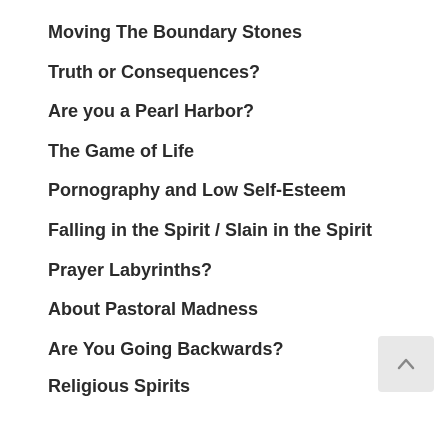Moving The Boundary Stones
Truth or Consequences?
Are you a Pearl Harbor?
The Game of Life
Pornography and Low Self-Esteem
Falling in the Spirit / Slain in the Spirit
Prayer Labyrinths?
About Pastoral Madness
Are You Going Backwards?
Religious Spirits